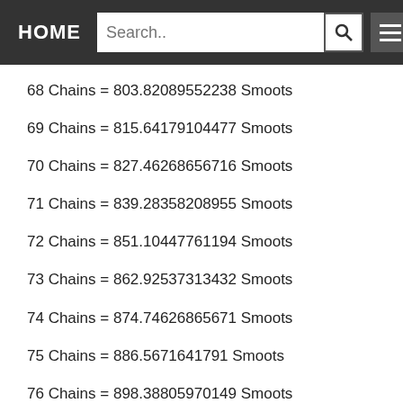HOME | Search..
68 Chains = 803.82089552238 Smoots
69 Chains = 815.64179104477 Smoots
70 Chains = 827.46268656716 Smoots
71 Chains = 839.28358208955 Smoots
72 Chains = 851.10447761194 Smoots
73 Chains = 862.92537313432 Smoots
74 Chains = 874.74626865671 Smoots
75 Chains = 886.5671641791 Smoots
76 Chains = 898.38805970149 Smoots
77 Chains = 910.20895522388 Smoots
78 Chains = 922.02985074626 Smoots